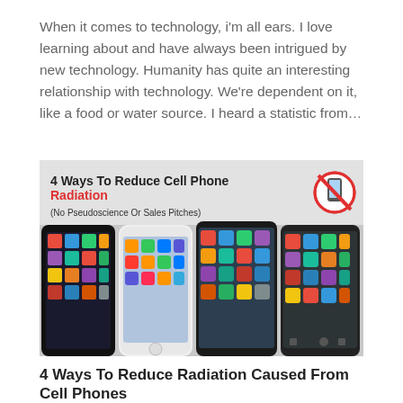When it comes to technology, i'm all ears. I love learning about and have always been intrigued by new technology. Humanity has quite an interesting relationship with technology. We're dependent on it, like a food or water source. I heard a statistic from…
[Figure (photo): Image showing 4 smartphones side by side with title '4 Ways To Reduce Cell Phone Radiation (No Pseudoscience Or Sales Pitches)' and a no-phone icon.]
4 Ways To Reduce Radiation Caused From Cell Phones
by admin | Dec 4, 2015 | Articles